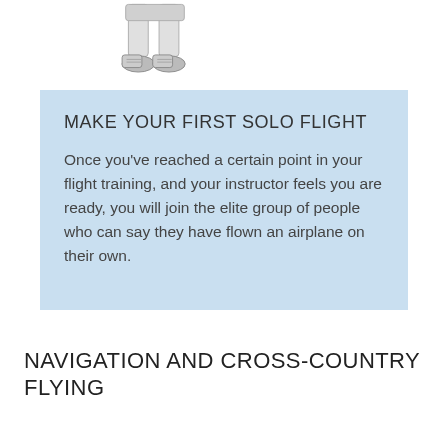[Figure (illustration): Partial illustration of a person's lower body (legs and feet in shoes) standing, shown from approximately waist down, in a sketch/line-drawing style with light gray shading.]
MAKE YOUR FIRST SOLO FLIGHT
Once you’ve reached a certain point in your flight training, and your instructor feels you are ready, you will join the elite group of people who can say they have flown an airplane on their own.
NAVIGATION AND CROSS-COUNTRY FLYING